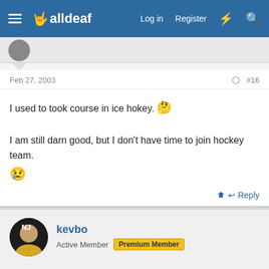alldeaf — Log in | Register
Feb 27, 2003   #16
I used to took course in ice hokey. 🤔

I am still darn good, but I don't have time to join hockey team. 😢
kevbo
Active Member  Premium Member
Feb 27, 2003   #17
Originally posted by illustrator
I used to took course in ice hokey. 🤔
I am still darn good, but I don't have time to join hockey team. 😢